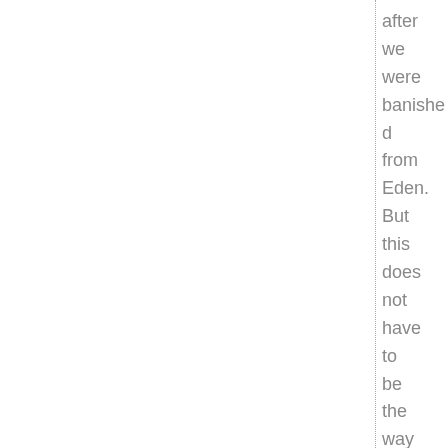after we were banished from Eden. But this does not have to be the way things are. Eventually, God